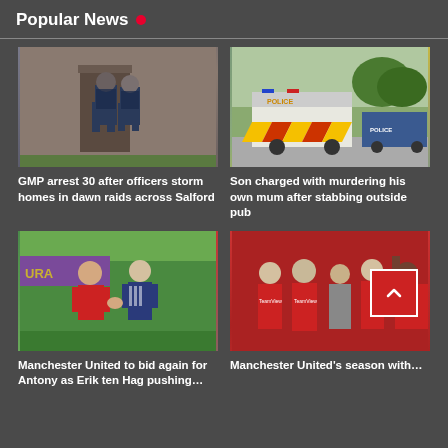Popular News
[Figure (photo): Two police officers in tactical gear entering a building during a dawn raid in Salford]
[Figure (photo): Police van with yellow and orange chevrons parked on street, blue police car behind]
GMP arrest 30 after officers storm homes in dawn raids across Salford
Son charged with murdering his own mum after stabbing outside pub
[Figure (photo): Manchester United manager Erik ten Hag speaking with a player in a red training jacket]
[Figure (photo): Manchester United players in red jerseys lined up together]
Manchester United to bid again for Antony as Erik ten Hag pushing…
Manchester United's season with…